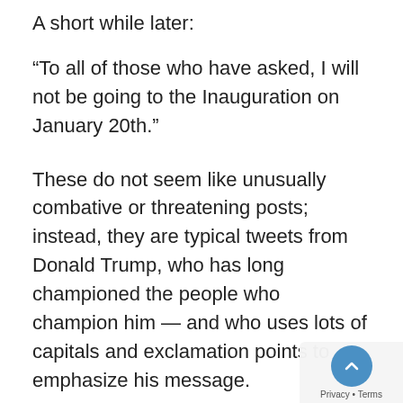A short while later:
“To all of those who have asked, I will not be going to the Inauguration on January 20th.”
These do not seem like unusually combative or threatening posts; instead, they are typical tweets from Donald Trump, who has long championed the people who champion him — and who uses lots of capitals and exclamation points to emphasize his message.
Twitter officials, though, viewing things through a Trump-loathing lens, see something more sinister.
Twitter explains that these tweets must be interpreted in “context” and goes on to examine “the ways in which the president’s statements can be mobilized by different audiences, including to incite violence…” In other words,